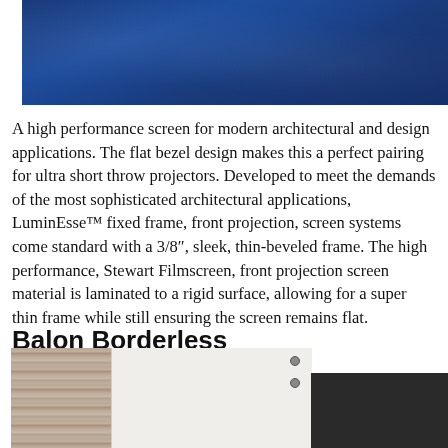[Figure (photo): Close-up photo of blue textured projection screen material]
A high performance screen for modern architectural and design applications. The flat bezel design makes this a perfect pairing for ultra short throw projectors. Developed to meet the demands of the most sophisticated architectural applications, LuminEsse™ fixed frame, front projection, screen systems come standard with a 3/8″, sleek, thin-beveled frame. The high performance, Stewart Filmscreen, front projection screen material is laminated to a rigid surface, allowing for a super thin frame while still ensuring the screen remains flat.
Balon Borderless
[Figure (photo): Photo of a white-framed projection screen with wooden wall background, showing mounting hardware and screen edge detail]